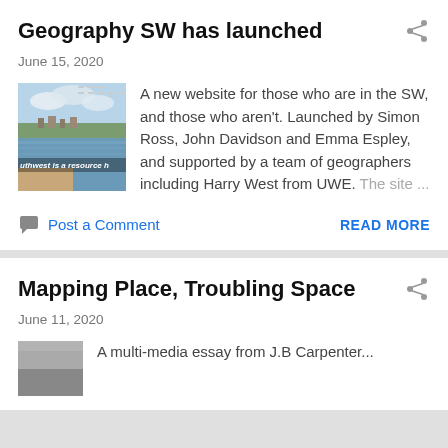Geography SW has launched
June 15, 2020
[Figure (photo): Landscape photo showing a river estuary with a town in the background, with text overlay reading 'uthwest is a resource h']
A new website for those who are in the SW, and those who aren't. Launched by Simon Ross, John Davidson and Emma Espley, and supported by a team of geographers including Harry West from UWE. The site ...
Post a Comment
READ MORE
Mapping Place, Troubling Space
June 11, 2020
A multi-media essay from J.B Carpenter...
[Figure (photo): Thumbnail image partially visible at bottom of page]